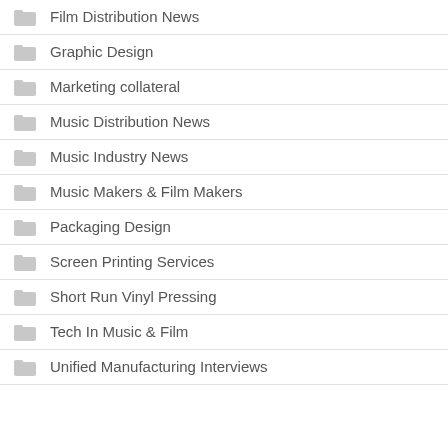Film Distribution News
Graphic Design
Marketing collateral
Music Distribution News
Music Industry News
Music Makers & Film Makers
Packaging Design
Screen Printing Services
Short Run Vinyl Pressing
Tech In Music & Film
Unified Manufacturing Interviews